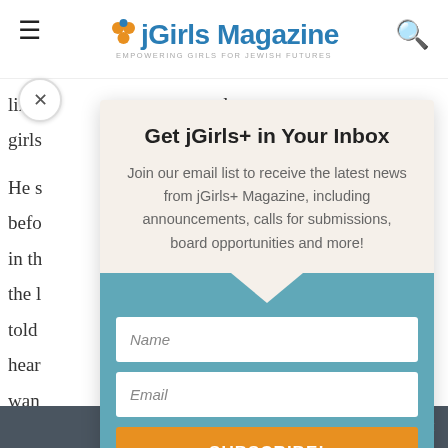jGirls Magazine
like [partial] rul
girls [partial]
He s [partial] nd
befo [partial] nt
in th [partial] ed
the l [partial] He
told [partial] d,
hear [partial]
wan [partial]
cam [partial]
girls [partial]
Whe [partial]
Get jGirls+ in Your Inbox
Join our email list to receive the latest news from jGirls+ Magazine, including announcements, calls for submissions, board opportunities and more!
Name
Email
SUBSCRIBE!
Share This ∨